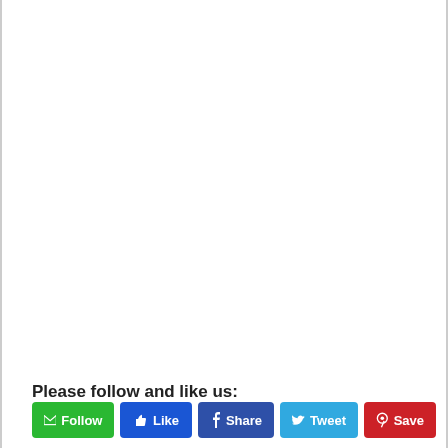Please follow and like us:
[Figure (screenshot): Social media share buttons row: Follow (green), Like (blue), Share (dark blue Facebook), Tweet (light blue Twitter), Save (red Pinterest)]